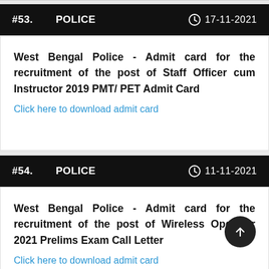#53.  POLICE  17-11-2021
West Bengal Police - Admit card for the recruitment of the post of Staff Officer cum Instructor 2019 PMT/ PET Admit Card
Click here to download admit card
#54.  POLICE  11-11-2021
West Bengal Police - Admit card for the recruitment of the post of Wireless Operator 2021 Prelims Exam Call Letter
Click here to download admit card